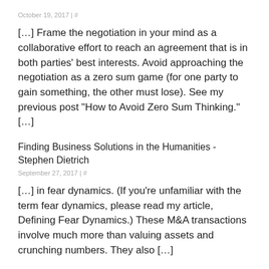October 19, 2017 | #
[…] Frame the negotiation in your mind as a collaborative effort to reach an agreement that is in both parties' best interests. Avoid approaching the negotiation as a zero sum game (for one party to gain something, the other must lose). See my previous post “How to Avoid Zero Sum Thinking.” […]
Finding Business Solutions in the Humanities - Stephen Dietrich
September 27, 2017 | #
[…] in fear dynamics. (If you’re unfamiliar with the term fear dynamics, please read my article, Defining Fear Dynamics.) These M&A transactions involve much more than valuing assets and crunching numbers. They also […]